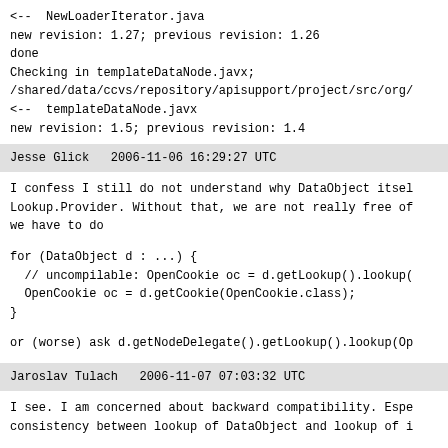<--  NewLoaderIterator.java
new revision: 1.27; previous revision: 1.26
done
Checking in templateDataNode.javx;
/shared/data/ccvs/repository/apisupport/project/src/org/
<--  templateDataNode.javx
new revision: 1.5; previous revision: 1.4
Jesse Glick   2006-11-06 16:29:27 UTC
I confess I still do not understand why DataObject itsel
Lookup.Provider. Without that, we are not really free of
we have to do
for (DataObject d : ...) {
  // uncompilable: OpenCookie oc = d.getLookup().lookup(
  OpenCookie oc = d.getCookie(OpenCookie.class);
}
or (worse) ask d.getNodeDelegate().getLookup().lookup(Op
Jaroslav Tulach   2006-11-07 07:03:32 UTC
I see. I am concerned about backward compatibility. Espe
consistency between lookup of DataObject and lookup of i
But your example is valid. It would be better if DataObj
default. I can try.